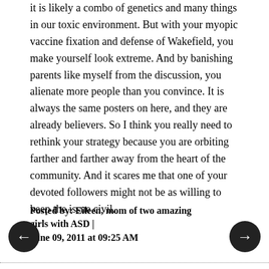it is likely a combo of genetics and many things in our toxic environment. But with your myopic vaccine fixation and defense of Wakefield, you make yourself look extreme. And by banishing parents like myself from the discussion, you alienate more people than you convince. It is always the same posters on here, and they are already believers. So I think you really need to rethink your strategy because you are orbiting farther and farther away from the heart of the community. And it scares me that one of your devoted followers might not be as willing to keep the issue civil.
Posted by: Eileen, mom of two amazing girls with ASD | June 09, 2011 at 09:25 AM